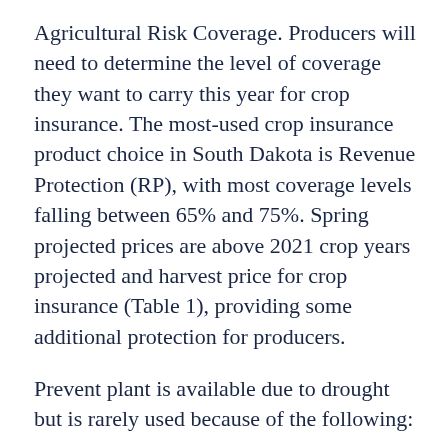Agricultural Risk Coverage. Producers will need to determine the level of coverage they want to carry this year for crop insurance. The most-used crop insurance product choice in South Dakota is Revenue Protection (RP), with most coverage levels falling between 65% and 75%. Spring projected prices are above 2021 crop years projected and harvest price for crop insurance (Table 1), providing some additional protection for producers.
Prevent plant is available due to drought but is rarely used because of the following:
Reduced coverage level. 55% of full coverage for corn and 60% of coverage for